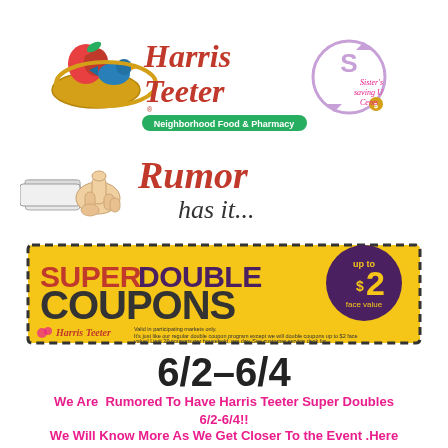[Figure (logo): Harris Teeter Neighborhood Food & Pharmacy logo with colorful bird/apple/bread graphic, alongside Sister's Saving U Cents circular logo]
[Figure (illustration): Black and white vintage pointing hand illustration next to 'Rumor has it...' text in italic serif font]
[Figure (infographic): Yellow Super Double Coupons banner with dashed border. Text reads SUPER DOUBLE COUPONS up to $2 face value, Harris Teeter logo and small disclaimer text]
6/2–6/4
We Are Rumored To Have Harris Teeter Super Doubles 6/2-6/4!!
We Will Know More As We Get Closer To the Event .Here